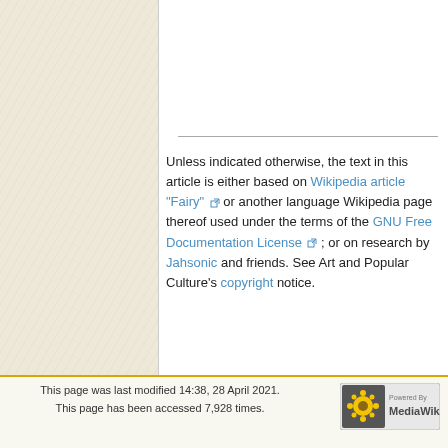Unless indicated otherwise, the text in this article is either based on Wikipedia article "Fairy" or another language Wikipedia page thereof used under the terms of the GNU Free Documentation License; or on research by Jahsonic and friends. See Art and Popular Culture's copyright notice.
This page was last modified 14:38, 28 April 2021.
This page has been accessed 7,928 times.
Privacy policy | About The Art and Popular Culture Encyclopedia | Disclaimers | MediaWiki & Wordpress Hosting by NG Communications